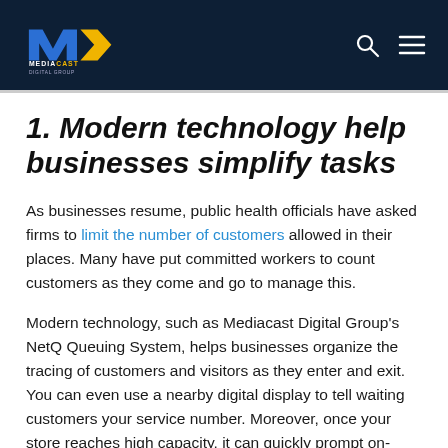[Figure (logo): Mediacast Digital Group logo — blue M with yellow chevron arrow, white text MEDIACAST DIGITAL GROUP on dark navy header bar]
1. Modern technology help businesses simplify tasks
As businesses resume, public health officials have asked firms to limit the number of customers allowed in their places. Many have put committed workers to count customers as they come and go to manage this.
Modern technology, such as Mediacast Digital Group's NetQ Queuing System, helps businesses organize the tracing of customers and visitors as they enter and exit. You can even use a nearby digital display to tell waiting customers your service number. Moreover, once your store reaches high capacity, it can quickly prompt on-screen